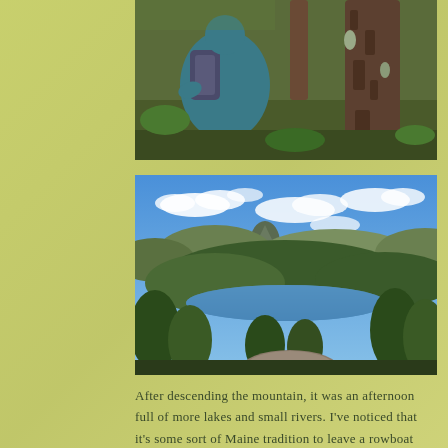[Figure (photo): Close-up photo of a hiker crouching near the base of a large tree trunk in a forest; the hiker is wearing a teal/blue jacket and a backpack; green forest floor visible.]
[Figure (photo): Panoramic landscape photo taken from a mountain summit looking out over a vast green forest, a blue lake in the middle ground, and rolling hills under a blue sky with scattered white clouds.]
After descending the mountain, it was an afternoon full of more lakes and small rivers. I've noticed that it's some sort of Maine tradition to leave a rowboat or